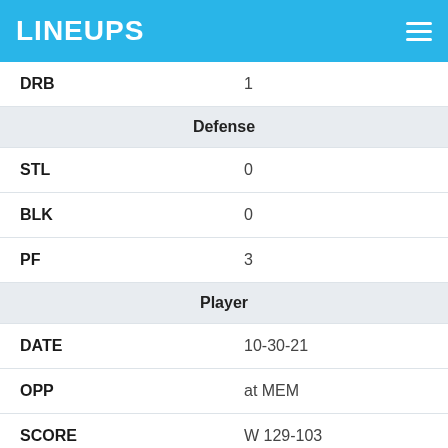LINEUPS
| DRB | 1 |
| Defense |  |
| STL | 0 |
| BLK | 0 |
| PF | 3 |
| Player |  |
| DATE | 10-30-21 |
| OPP | at MEM |
| SCORE | W 129-103 |
| MINS | 20 |
| Fantasy Points |  |
| FPTS | 16.2 |
| FPTS/MIN | 0.8 |